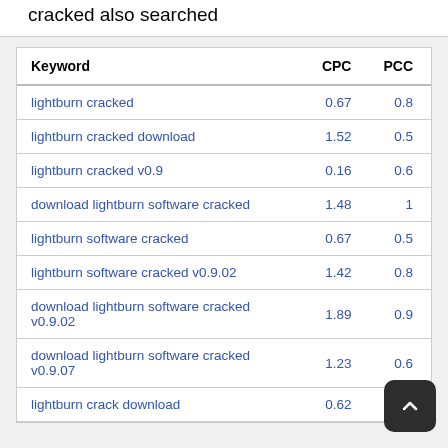cracked also searched
| Keyword | CPC | PCC |
| --- | --- | --- |
| lightburn cracked | 0.67 | 0.8 |
| lightburn cracked download | 1.52 | 0.5 |
| lightburn cracked v0.9 | 0.16 | 0.6 |
| download lightburn software cracked | 1.48 | 1 |
| lightburn software cracked | 0.67 | 0.5 |
| lightburn software cracked v0.9.02 | 1.42 | 0.8 |
| download lightburn software cracked v0.9.02 | 1.89 | 0.9 |
| download lightburn software cracked v0.9.07 | 1.23 | 0.6 |
| lightburn crack download | 0.62 |  |